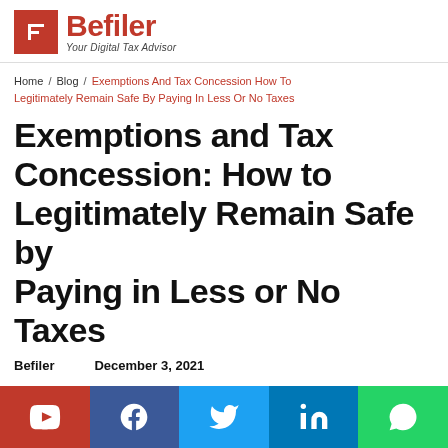[Figure (logo): Befiler logo — red square with white F icon, bold red 'Befiler' text, italic tagline 'Your Digital Tax Advisor']
Home / Blog / Exemptions And Tax Concession How To Legitimately Remain Safe By Paying In Less Or No Taxes
Exemptions and Tax Concession: How to Legitimately Remain Safe by Paying in Less or No Taxes
Befiler   December 3, 2021
There are some special exemptions and concessions
[Figure (infographic): Social sharing bar with YouTube (red), Facebook (dark blue), Twitter (light blue), LinkedIn (blue), WhatsApp (green) buttons]